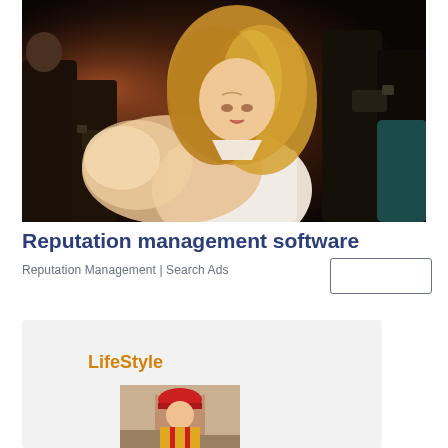[Figure (photo): A blonde woman holding her hand up toward the camera as if pushing away paparazzi, surrounded by photographers with cameras in a dark setting.]
Reputation management software
Reputation Management | Search Ads
[Figure (other): A card section with 'LifeStyle' heading and a partial image of a construction worker.]